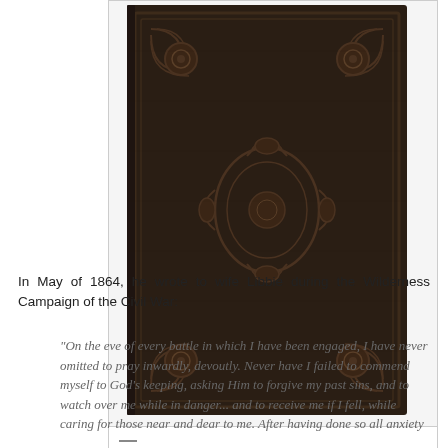[Figure (photo): Photograph of a dark brown book cover with elaborate blindstamped decorative pattern featuring ornate floral and geometric designs in all four corners and center]
Upper board, elaborately blindstamped.
In May of 1864, he wrote to wife Libbie during the Wilderness Campaign of the Civil War:
"On the eve of every battle in which I have been engaged, I have never omitted to pray inwardly, devoutly. Never have I failed to commend myself to God's keeping, asking Him to forgive my past sins, and to watch over me while in danger... and to receive me if I fell, while caring for those near and dear to me. After having done so all anxiety